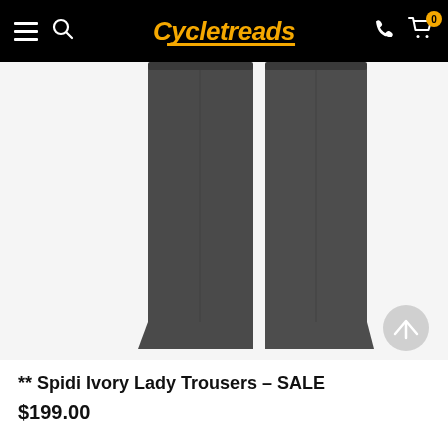Cycletreads — navigation bar with hamburger menu, search, phone, and cart (0 items)
[Figure (photo): Product photo of dark grey/charcoal Spidi Ivory Lady motorcycle trousers displayed flat against a white background, showing two straight pant legs side by side.]
** Spidi Ivory Lady Trousers - SALE
$199.00